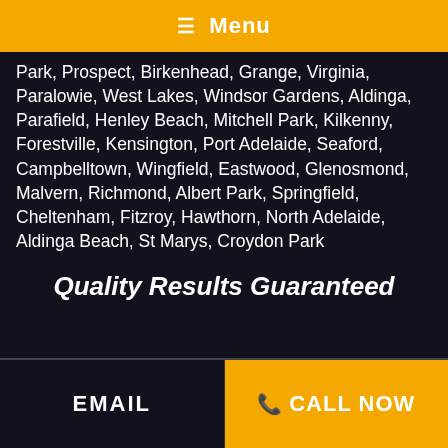☰ Menu
Park, Prospect, Birkenhead, Grange, Virginia, Paralowie, West Lakes, Windsor Gardens, Aldinga, Parafield, Henley Beach, Mitchell Park, Kilkenny, Forestville, Kensington, Port Adelaide, Seaford, Campbelltown, Wingfield, Eastwood, Glenosmond, Malvern, Richmond, Albert Park, Springfield, Cheltenham, Fitzroy, Hawthorn, North Adelaide, Aldinga Beach, St Marys, Croydon Park
Quality Results Guaranteed
EMAIL  📞 CALL NOW